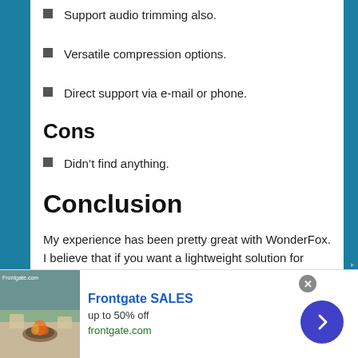Support audio trimming also.
Versatile compression options.
Direct support via e-mail or phone.
Cons
Didn’t find anything.
Conclusion
My experience has been pretty great with WonderFox. I believe that if you want a lightweight solution for video editing without significant loss in quality, then you should go for it. If you are still wondering, then just try out the
[Figure (other): Advertisement banner for Frontgate SALES, up to 50% off, frontgate.com, with outdoor furniture image and navigation arrow button.]